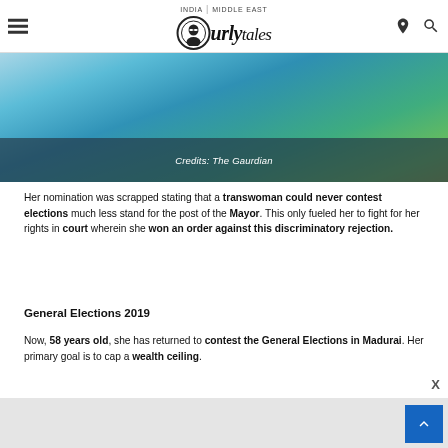INDIA | MIDDLE EAST — Curly Tales logo
[Figure (photo): A woman in a blue sari holding a green object, with a semi-transparent dark overlay at the bottom showing the credit text.]
Credits: The Gaurdian
Her nomination was scrapped stating that a transwoman could never contest elections much less stand for the post of the Mayor. This only fueled her to fight for her rights in court wherein she won an order against this discriminatory rejection.
General Elections 2019
Now, 58 years old, she has returned to contest the General Elections in Madurai. Her primary goal is to cap a wealth ceiling.